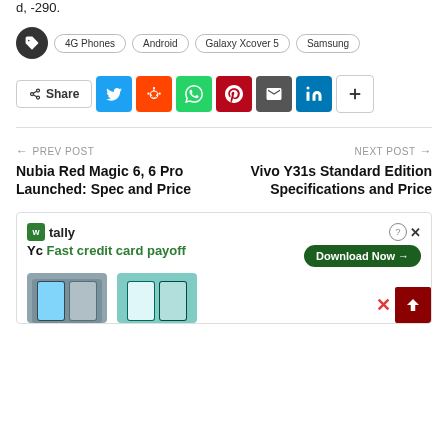d, -290.
4G Phones | Android | Galaxy Xcover 5 | Samsung
Share [Twitter] [Reddit] [WhatsApp] [Pinterest] [Email] [LinkedIn] [+]
← PREV POST   Nubia Red Magic 6, 6 Pro Launched: Spec and Price   NEXT POST →   Vivo Y31s Standard Edition Specifications and Price
[Figure (screenshot): Advertisement banner for Tally app with 'Fast credit card payoff' tagline and Download Now button, with phone images below]